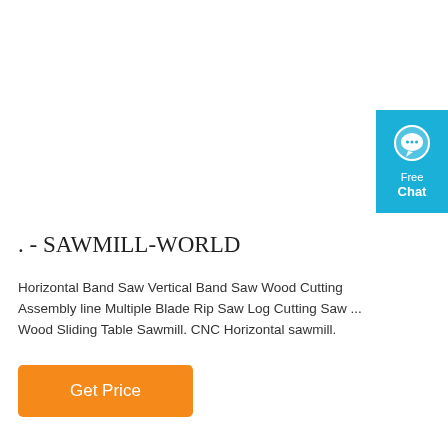[Figure (other): Free Chat widget button in teal/cyan color with a speech bubble icon, text 'Free Chat']
. - SAWMILL-WORLD
Horizontal Band Saw Vertical Band Saw Wood Cutting Assembly line Multiple Blade Rip Saw Log Cutting Saw ... Wood Sliding Table Sawmill. CNC Horizontal sawmill.
Get Price